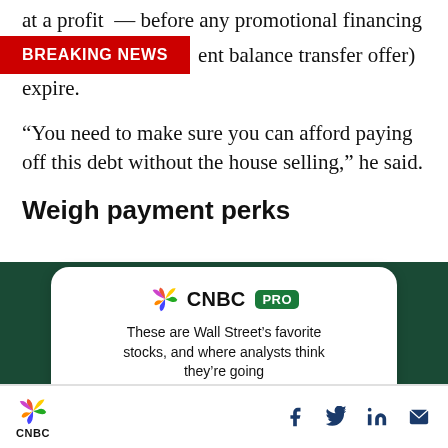at a profit — before any promotional financing (current balance transfer offer) expire.
“You need to make sure you can afford paying off this debt without the house selling,” he said.
Weigh payment perks
[Figure (screenshot): CNBC PRO advertisement card on dark green background with text 'These are Wall Street’s favorite stocks, and where analysts think they’re going' and a green Subscribe Now button]
CNBC logo with social media icons: Facebook, Twitter, LinkedIn, Email